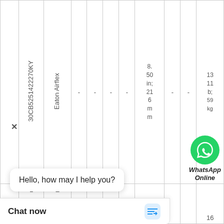| 30CB5251422270KY | Eaton Airflex | - | - | - | - | 8.50 in; 216 mm | - | - | 13 11 lb; 59 kg |
| L | E | 2 |  |  |  | 16 |  |  |  |
[Figure (screenshot): WhatsApp Online button with green WhatsApp logo and bold italic text 'WhatsApp Online']
Hello, how may I help you?
Chat now